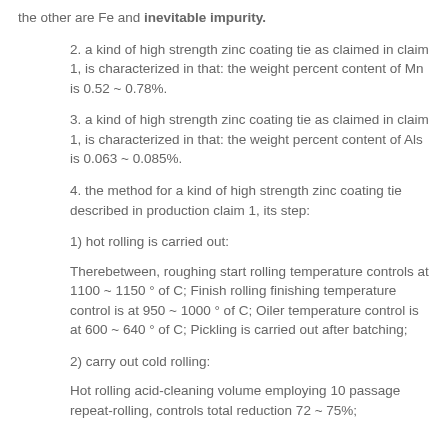the other are Fe and inevitable impurity.
2. a kind of high strength zinc coating tie as claimed in claim 1, is characterized in that: the weight percent content of Mn is 0.52 ~ 0.78%.
3. a kind of high strength zinc coating tie as claimed in claim 1, is characterized in that: the weight percent content of Als is 0.063 ~ 0.085%.
4. the method for a kind of high strength zinc coating tie described in production claim 1, its step:
1) hot rolling is carried out:
Therebetween, roughing start rolling temperature controls at 1100 ~ 1150 ° of C; Finish rolling finishing temperature control is at 950 ~ 1000 ° of C; Oiler temperature control is at 600 ~ 640 ° of C; Pickling is carried out after batching;
2) carry out cold rolling:
Hot rolling acid-cleaning volume employing 10 passage repeat-rolling, controls total reduction 72 ~ 75%;